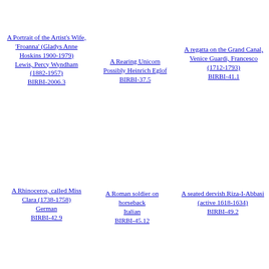A Portrait of the Artist's Wife, 'Froanna' (Gladys Anne Hoskins 1900-1979) Lewis, Percy Wyndham (1882-1957) BIRBI-2006.3
A Rearing Unicorn Possibly Heinrich Eglof BIRBI-37.5
A regatta on the Grand Canal, Venice Guardi, Francesco (1712-1793) BIRBI-41.1
A Rhinoceros, called Miss Clara (1738-1758) German BIRBI-42.9
A Roman soldier on horseback Italian BIRBI-45.12
A seated dervish Riza-I-Abbasi (active 1618-1634) BIRBI-49.2